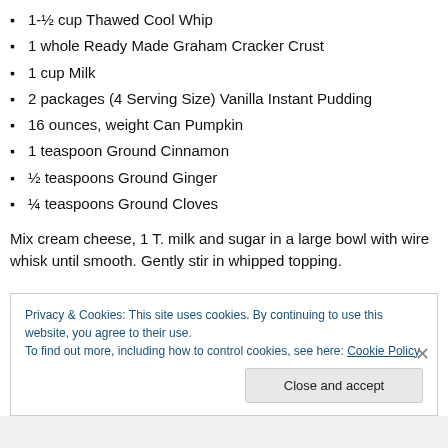1-½ cup Thawed Cool Whip
1 whole Ready Made Graham Cracker Crust
1 cup Milk
2 packages (4 Serving Size) Vanilla Instant Pudding
16 ounces, weight Can Pumpkin
1 teaspoon Ground Cinnamon
½ teaspoons Ground Ginger
¼ teaspoons Ground Cloves
Mix cream cheese, 1 T. milk and sugar in a large bowl with wire whisk until smooth. Gently stir in whipped topping.
Privacy & Cookies: This site uses cookies. By continuing to use this website, you agree to their use.
To find out more, including how to control cookies, see here: Cookie Policy